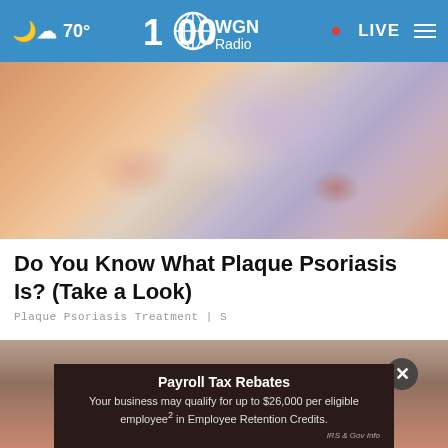70° WGN Radio LIVE
[Figure (photo): Close-up photo of a foot/ankle showing skin condition with redness and discoloration, possibly psoriasis]
Do You Know What Plaque Psoriasis Is? (Take a Look)
Plaque Psoriasis Treatment | S
[Figure (photo): Close-up photo of a hand with skin condition, water droplets visible]
Payroll Tax Rebates
Your business may qualify for up to $26,000 per eligible employee² in Employee Retention Credits.